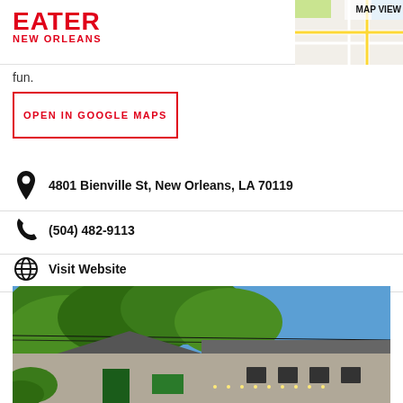EATER NEW ORLEANS
fun.
OPEN IN GOOGLE MAPS
4801 Bienville St, New Orleans, LA 70119
(504) 482-9113
Visit Website
[Figure (photo): Exterior photo of a restaurant building with large green trees in foreground, grey roofline visible, blue sky background, daytime.]